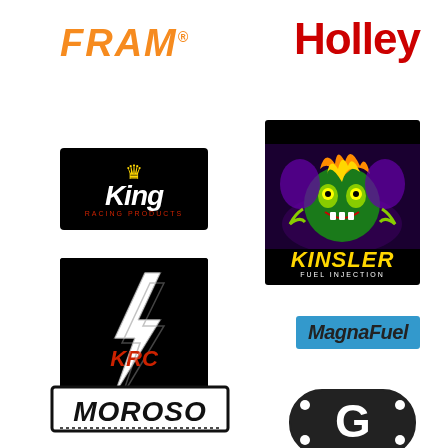[Figure (logo): FRAM logo in orange italic bold text]
[Figure (logo): Holley logo in red bold text]
[Figure (logo): King Racing Products logo on black background with crown and stylized white text]
[Figure (logo): Kinsler Fuel Injection logo with monster illustration on black background with yellow text]
[Figure (logo): KRC logo with lightning bolt on black background]
[Figure (logo): MagnaFuel logo in italic text on blue background]
[Figure (logo): Moroso logo in italic bold outlined text]
[Figure (logo): Mr. Gasket logo with G mark in gasket shape]